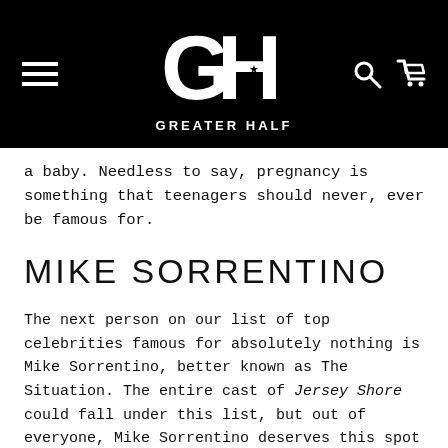[Figure (logo): Greater Half logo - stylized GH letters with stars, white on black background, with GREATER HALF text below. Hamburger menu icon on left, search and cart icons on right.]
a baby. Needless to say, pregnancy is something that teenagers should never, ever be famous for.
MIKE SORRENTINO
The next person on our list of top celebrities famous for absolutely nothing is Mike Sorrentino, better known as The Situation. The entire cast of Jersey Shore could fall under this list, but out of everyone, Mike Sorrentino deserves this spot the most. His impressive physique gained him more fame than his stint on the show. Apart